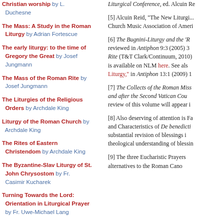Christian worship by L. Duchesne
The Mass: A Study in the Roman Liturgy by Adrian Fortescue
The early liturgy: to the time of Gregory the Great by Josef Jungmann
The Mass of the Roman Rite by Josef Jungmann
The Liturgies of the Religious Orders by Archdale King
Liturgy of the Roman Church by Archdale King
The Rites of Eastern Christendom by Archdale King
The Byzantine-Slav Liturgy of St. John Chrysostom by Fr. Casimir Kucharek
Turning Towards the Lord: Orientation in Liturgical Prayer by Fr. Uwe-Michael Lang
Liturgical Conference, ed. Alcuin Re...
[5] Alcuin Reid, "The New Liturgi... Church Music Association of Ameri...
[6] The Bugnini-Liturgy and the 'R... reviewed in Antiphon 9:3 (2005) 3... Rite (T&T Clark/Continuum, 2010)... is available on NLM here. See als... Liturgy," in Antiphon 13:1 (2009) 1...
[7] The Collects of the Roman Miss... and after the Second Vatican Cou... review of this volume will appear i...
[8] Also deserving of attention is Fa... and Characteristics of De benedicti... substantial revision of blessings i... theological understanding of blessin...
[9] The three Eucharistic Prayers... alternatives to the Roman Cano...